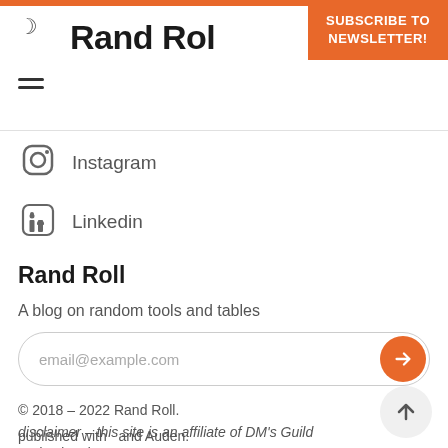SUBSCRIBE TO NEWSLETTER!
Rand Roll
Instagram
Linkedin
Rand Roll
A blog on random tools and tables
email@example.com
© 2018 - 2022 Rand Roll. disclaimer - this site is an affiliate of DM's Guild and DriveThru RPG
published with  and Auden.